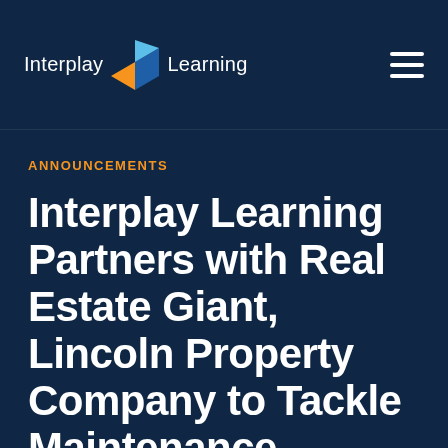Interplay Learning
ANNOUNCEMENTS
Interplay Learning Partners with Real Estate Giant, Lincoln Property Company to Tackle Maintenance Turnover with Simulation-based Training Courses and